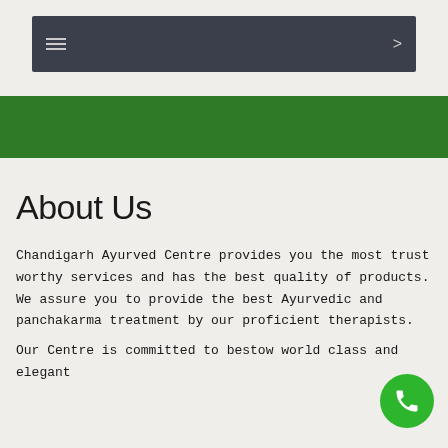☰  >
[Figure (other): Dark navigation bar with hamburger menu icon on left and right arrow on right]
[Figure (other): Green horizontal banner/band]
About Us
Chandigarh Ayurved Centre provides you the most trust worthy services and has the best quality of products. We assure you to provide the best Ayurvedic and panchakarma treatment by our proficient therapists.
Our Centre is committed to bestow world class and elegant